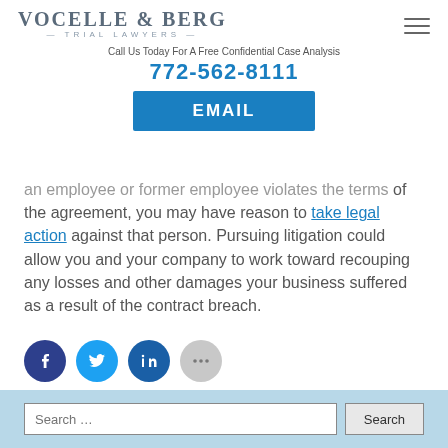VOCELLE & BERG — TRIAL LAWYERS —
Call Us Today For A Free Confidential Case Analysis
772-562-8111
EMAIL
an employee or former employee violates the terms of the agreement, you may have reason to take legal action against that person. Pursuing litigation could allow you and your company to work toward recouping any losses and other damages your business suffered as a result of the contract breach.
[Figure (other): Social media share icons: Facebook, Twitter, LinkedIn, and a more options (ellipsis) button]
Search ...